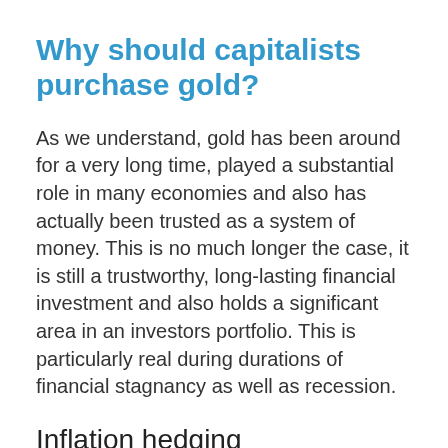Why should capitalists purchase gold?
As we understand, gold has been around for a very long time, played a substantial role in many economies and also has actually been trusted as a system of money. This is no much longer the case, it is still a trustworthy, long-lasting financial investment and also holds a significant area in an investors portfolio. This is particularly real during durations of financial stagnancy as well as recession.
Inflation hedging
Over the last 50 years, gold has actually